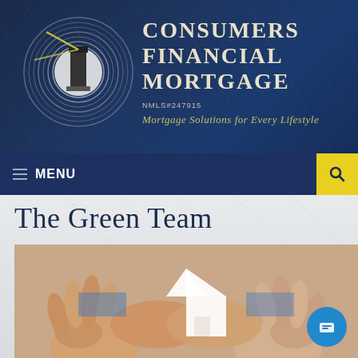[Figure (logo): Consumers Financial Mortgage logo with lighthouse in circular design and company name text]
MENU
The Green Team
[Figure (photo): Two sets of hands holding a small white paper house cutout together, symbolizing home ownership and teamwork]